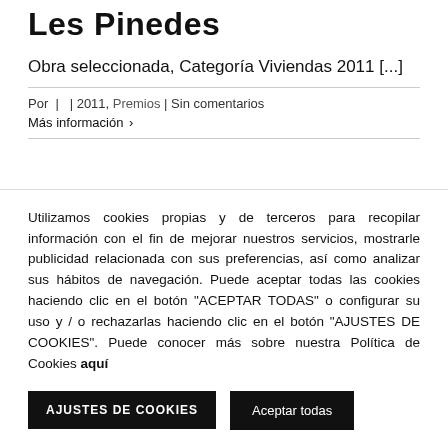Les Pinedes
Obra seleccionada, Categoría Viviendas 2011 [...]
Por  |  | 2011, Premios | Sin comentarios
Más información ›
Utilizamos cookies propias y de terceros para recopilar información con el fin de mejorar nuestros servicios, mostrarle publicidad relacionada con sus preferencias, así como analizar sus hábitos de navegación. Puede aceptar todas las cookies haciendo clic en el botón "ACEPTAR TODAS" o configurar su uso y / o rechazarlas haciendo clic en el botón "AJUSTES DE COOKIES". Puede conocer más sobre nuestra Política de Cookies aquí
AJUSTES DE COOKIES
Aceptar todas